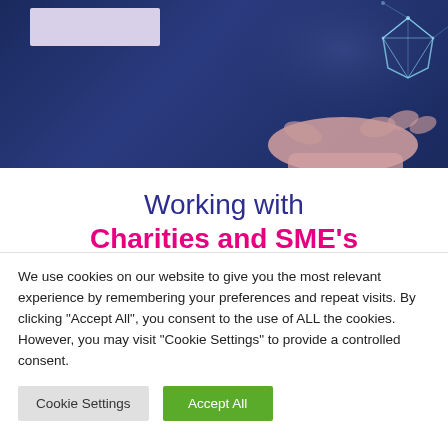[Figure (photo): Dark navy blue hero banner with a hand holding a glowing digital diamond/gem shape, with a light purple logo box placeholder in the top left corner.]
Working with Charities and SME's
We use cookies on our website to give you the most relevant experience by remembering your preferences and repeat visits. By clicking "Accept All", you consent to the use of ALL the cookies. However, you may visit "Cookie Settings" to provide a controlled consent.